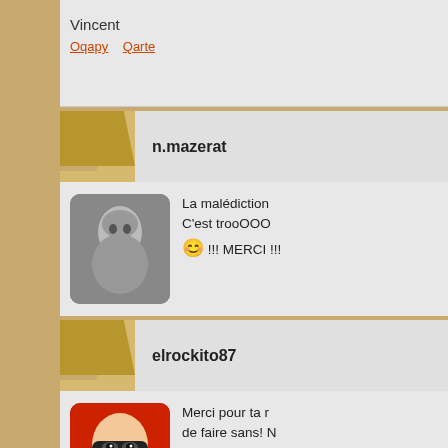Vincent
Oqapy   Qarte
n.mazerat
La malédiction C'est trooOOO 😊 !!! MERCI !!!
elrockito87
Merci pour ta r de faire sans! N attendre que d
N'allez pas là où Emerson] Ne restreins pas